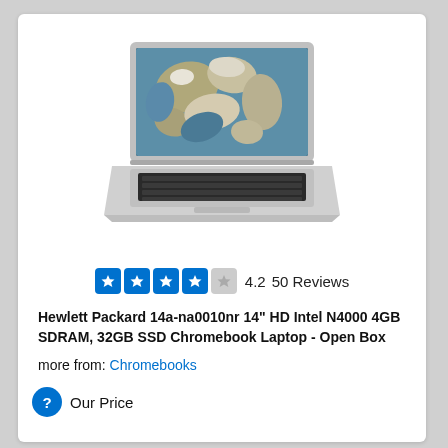[Figure (photo): HP Chromebook laptop with open screen showing satellite imagery of a coastline, silver body with black keyboard, viewed from a slight angle]
4.2  50 Reviews
Hewlett Packard 14a-na0010nr 14" HD Intel N4000 4GB SDRAM, 32GB SSD Chromebook Laptop - Open Box
more from: Chromebooks
Our Price